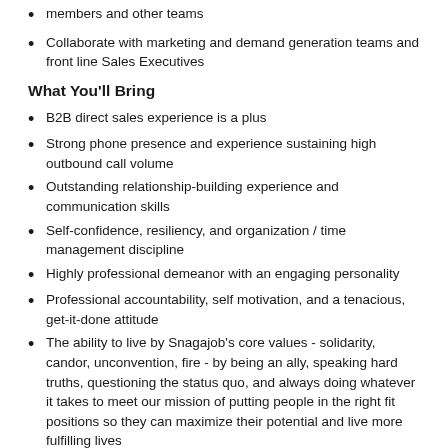members and other teams
Collaborate with marketing and demand generation teams and front line Sales Executives
What You'll Bring
B2B direct sales experience is a plus
Strong phone presence and experience sustaining high outbound call volume
Outstanding relationship-building experience and communication skills
Self-confidence, resiliency, and organization / time management discipline
Highly professional demeanor with an engaging personality
Professional accountability, self motivation, and a tenacious, get-it-done attitude
The ability to live by Snagajob’s core values - solidarity, candor, unconvention, fire - by being an ally, speaking hard truths, questioning the status quo, and always doing whatever it takes to meet our mission of putting people in the right fit positions so they can maximize their potential and live more fulfilling lives
At Snagajob, we celebrate our differences in an inclusive